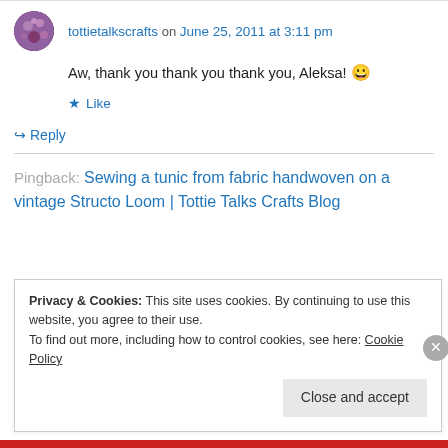tottietalkscrafts on June 25, 2011 at 3:11 pm
Aw, thank you thank you thank you, Aleksa! 😀
★ Like
↪ Reply
Pingback: Sewing a tunic from fabric handwoven on a vintage Structo Loom | Tottie Talks Crafts Blog
Privacy & Cookies: This site uses cookies. By continuing to use this website, you agree to their use. To find out more, including how to control cookies, see here: Cookie Policy
Close and accept